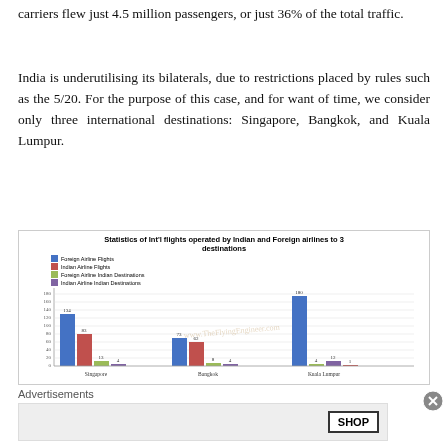carriers flew just 4.5 million passengers, or just 36% of the total traffic.
India is underutilising its bilaterals, due to restrictions placed by rules such as the 5/20. For the purpose of this case, and for want of time, we consider only three international destinations: Singapore, Bangkok, and Kuala Lumpur.
[Figure (grouped-bar-chart): Statistics of Int'l flights operated by Indian and Foreign airlines to 3 destinations]
Advertisements